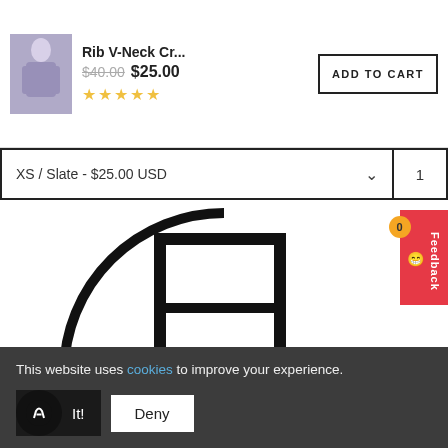[Figure (photo): Product thumbnail of a woman wearing a grey ribbed v-neck crop top]
Rib V-Neck Cr...
$40.00 $25.00
☆☆☆☆☆
ADD TO CART
XS / Slate - $25.00 USD
1
[Figure (logo): Circular logo with stylized block letters forming initials, black on white]
Feedback
This website uses cookies to improve your experience.
It!
Deny